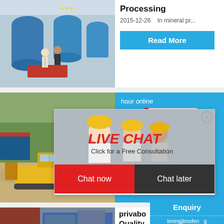[Figure (photo): Industrial facility interior with two workers and large blue processing equipment/tanks]
Processing
2015-12-26   In mineral pr...
Read More
[Figure (photo): Construction site with yellow bulldozer moving earth/gravel, outdoor scene with trees]
hour online
[Figure (photo): Industrial crusher/jaw crusher machine in white/grey]
Read
Click me to chat>>
[Figure (screenshot): Live chat popup overlay with workers in yellow hard hats, title LIVE CHAT, subtitle Click for a Free Consultation, Chat now and Chat later buttons]
Enquiry
[Figure (photo): Industrial equipment/trucks at a processing facility]
privabo
Quality
limingjlmofen   g